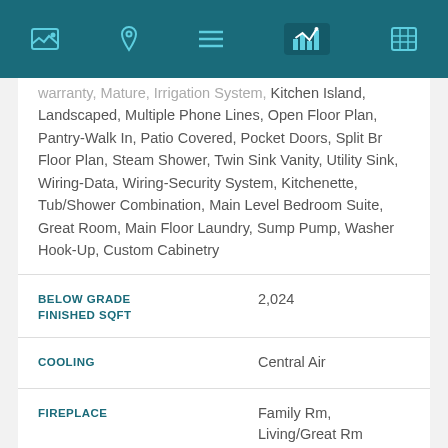Navigation bar with icons: image, location, list, chart (active), calculator
warranty, Mature, Irrigation System, Kitchen Island, Landscaped, Multiple Phone Lines, Open Floor Plan, Pantry-Walk In, Patio Covered, Pocket Doors, Split Br Floor Plan, Steam Shower, Twin Sink Vanity, Utility Sink, Wiring-Data, Wiring-Security System, Kitchenette, Tub/Shower Combination, Main Level Bedroom Suite, Great Room, Main Floor Laundry, Sump Pump, Washer Hook-Up, Custom Cabinetry
| Field | Value |
| --- | --- |
| BELOW GRADE FINISHED SQFT | 2,024 |
| COOLING | Central Air |
| FIREPLACE | Family Rm, Living/Great Rm |
| HEATING | Gas |